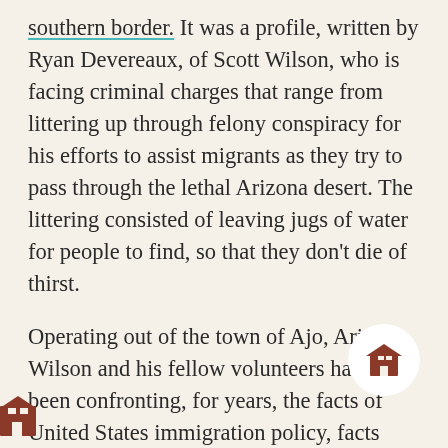southern border. It was a profile, written by Ryan Devereaux, of Scott Wilson, who is facing criminal charges that range from littering up through felony conspiracy for his efforts to assist migrants as they try to pass through the lethal Arizona desert. The littering consisted of leaving jugs of water for people to find, so that they don't die of thirst.
Operating out of the town of Ajo, Arizona, Wilson and his fellow volunteers have been confronting, for years, the facts of United States immigration policy, facts which take the form of bones in the desert. It is crucial to